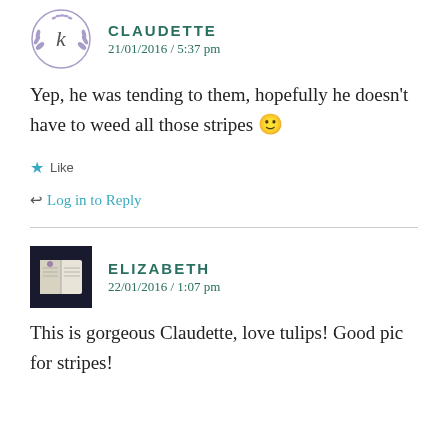[Figure (illustration): Circular avatar for Claudette with a botanical/calligraphic logo]
CLAUDETTE
21/01/2016 / 5:37 pm
Yep, he was tending to them, hopefully he doesn't have to weed all those stripes 🙂
★ Like
↩ Log in to Reply
[Figure (photo): Small square photo avatar for Elizabeth showing an open book/journal]
ELIZABETH
22/01/2016 / 1:07 pm
This is gorgeous Claudette, love tulips! Good pic for stripes!